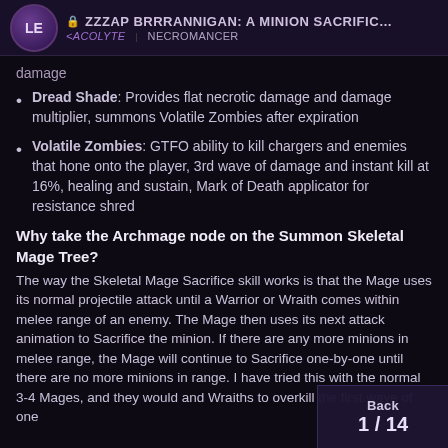🔒 Zzzap Brrrannigan: A Minion Sacrific… | <Acolyte | Necromancer
damage
Dread Shade: Provides flat necrotic damage and damage multiplier, summons Volatile Zombies after expiration
Volatile Zombies: GTFO ability to kill chargers and enemies that hone onto the player, 3rd wave of damage and instant kill at 16%, healing and sustain, Mark of Death applicator for resistance shred
Why take the Archmage node on the Summon Skeletal Mage Tree?
The way the Skeletal Mage Sacrifice skill works is that the Mage uses its normal projectile attack until a Warrior or Wraith comes within melee range of an enemy. The Mage then uses its next attack animation to Sacrifice the minion. If there are any more minions in melee range, the Mage will continue to Sacrifice one-by-one until there are no more minions in range. I have tried this with the normal 3-4 Mages, and they would and Wraiths to overkill the first wave of one
Back | 1/14